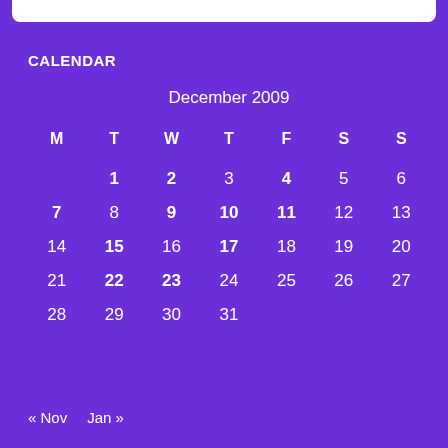CALENDAR
| M | T | W | T | F | S | S |
| --- | --- | --- | --- | --- | --- | --- |
|  | 1 | 2 | 3 | 4 | 5 | 6 |
| 7 | 8 | 9 | 10 | 11 | 12 | 13 |
| 14 | 15 | 16 | 17 | 18 | 19 | 20 |
| 21 | 22 | 23 | 24 | 25 | 26 | 27 |
| 28 | 29 | 30 | 31 |  |  |  |
« Nov   Jan »